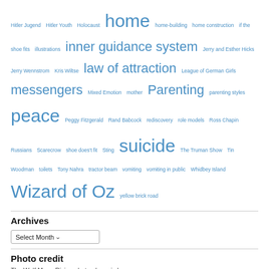Hitler Jugend Hitler Youth Holocaust home home-building home construction if the shoe fits illustrations inner guidance system Jerry and Esther Hicks Jerry Wennstrom Kris Wiltse law of attraction League of German Girls messengers Mixed Emotion mother Parenting parenting styles peace Peggy Fitzgerald Rand Babcock rediscovery role models Ross Chapin Russians Scarecrow shoe does't fit Sting suicide The Truman Show Tin Woodman toilets Tony Nahra tractor beam vomiting vomiting in public Whidbey Island Wizard of Oz yellow brick road
Archives
Select Month
Photo credit
The Wolf Moon Rising photo above is by
Ross Chapin (CC BY-NC-SA 2.0)